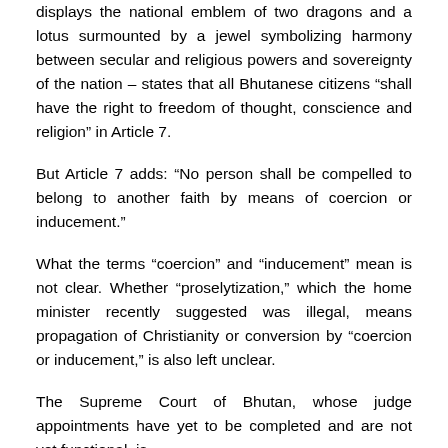displays the national emblem of two dragons and a lotus surmounted by a jewel symbolizing harmony between secular and religious powers and sovereignty of the nation – states that all Bhutanese citizens “shall have the right to freedom of thought, conscience and religion” in Article 7.
But Article 7 adds: “No person shall be compelled to belong to another faith by means of coercion or inducement.”
What the terms “coercion” and “inducement” mean is not clear. Whether “proselytization,” which the home minister recently suggested was illegal, means propagation of Christianity or conversion by “coercion or inducement,” is also left unclear.
The Supreme Court of Bhutan, whose judge appointments have yet to be completed and are not yet functional, is